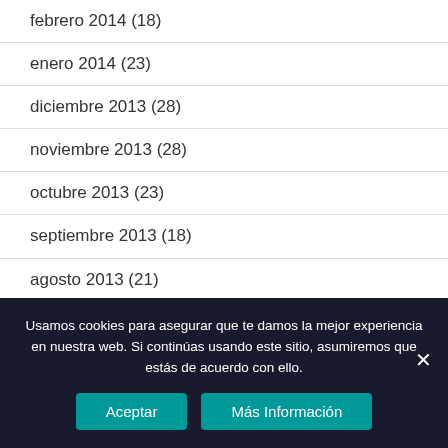febrero 2014 (18)
enero 2014 (23)
diciembre 2013 (28)
noviembre 2013 (28)
octubre 2013 (23)
septiembre 2013 (18)
agosto 2013 (21)
julio 2013 (16)
Usamos cookies para asegurar que te damos la mejor experiencia en nuestra web. Si continúas usando este sitio, asumiremos que estás de acuerdo con ello.
Aceptar | Más Información